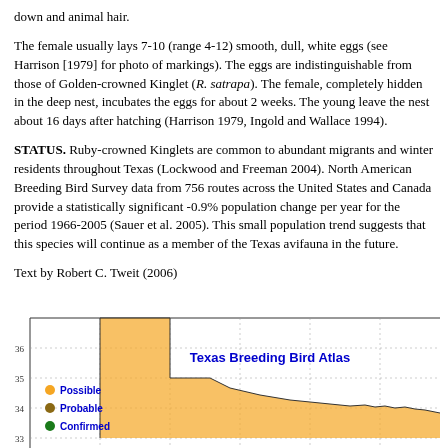down and animal hair.
The female usually lays 7-10 (range 4-12) smooth, dull, white eggs (see Harrison [1979] for photo of markings). The eggs are indistinguishable from those of Golden-crowned Kinglet (R. satrapa). The female, completely hidden in the deep nest, incubates the eggs for about 2 weeks. The young leave the nest about 16 days after hatching (Harrison 1979, Ingold and Wallace 1994).
STATUS. Ruby-crowned Kinglets are common to abundant migrants and winter residents throughout Texas (Lockwood and Freeman 2004). North American Breeding Bird Survey data from 756 routes across the United States and Canada provide a statistically significant -0.9% population change per year for the period 1966-2005 (Sauer et al. 2005). This small population trend suggests that this species will continue as a member of the Texas avifauna in the future.
Text by Robert C. Tweit (2006)
[Figure (other): Partial view of Texas Breeding Bird Atlas map showing latitude bands 33-36, with an orange shaded region indicating bird sighting records. Legend shows Possible (orange circle), Probable (brown circle), Confirmed (green circle).]